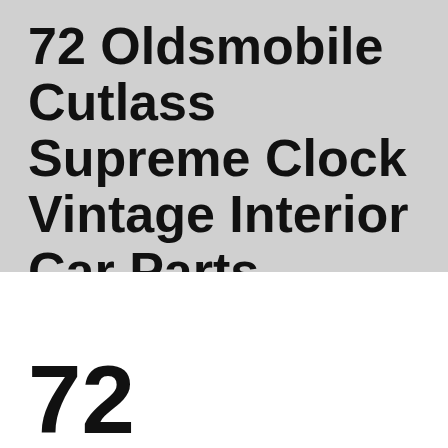72 Oldsmobile Cutlass Supreme Clock Vintage Interior Car Parts
Search Site...
72